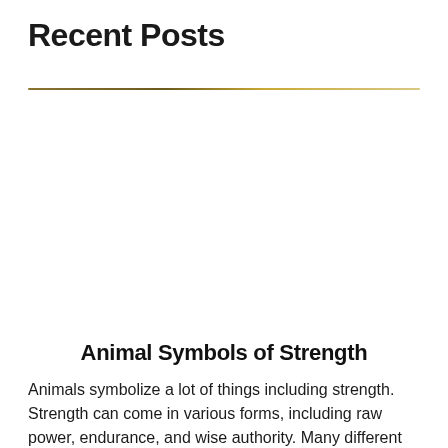Recent Posts
[Figure (illustration): Decorative horizontal divider line with golden/yellow gradient color, thin rule spanning full width]
[Figure (photo): White/blank image placeholder area below the divider line]
Animal Symbols of Strength
Animals symbolize a lot of things including strength. Strength can come in various forms, including raw power, endurance, and wise authority. Many different